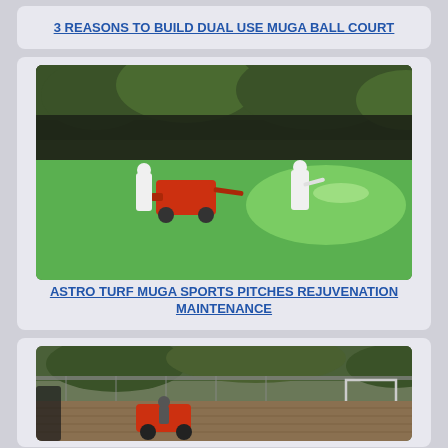3 REASONS TO BUILD DUAL USE MUGA BALL COURT
[Figure (photo): Two workers in white protective suits on a green artificial turf pitch, one operating a red machine and another spraying the surface. Dark windbreak netting and trees visible in background.]
ASTRO TURF MUGA SPORTS PITCHES REJUVENATION MAINTENANCE
[Figure (photo): A red ride-on maintenance machine on a worn artificial turf pitch with fencing and a goal post visible in the background and trees behind.]